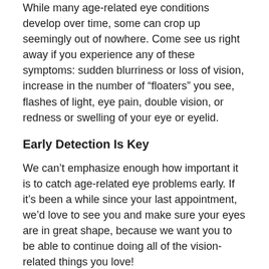While many age-related eye conditions develop over time, some can crop up seemingly out of nowhere. Come see us right away if you experience any of these symptoms: sudden blurriness or loss of vision, increase in the number of “floaters” you see, flashes of light, eye pain, double vision, or redness or swelling of your eye or eyelid.
Early Detection Is Key
We can’t emphasize enough how important it is to catch age-related eye problems early. If it’s been a while since your last appointment, we’d love to see you and make sure your eyes are in great shape, because we want you to be able to continue doing all of the vision-related things you love!
We’re here to help whenever your eyes need us!